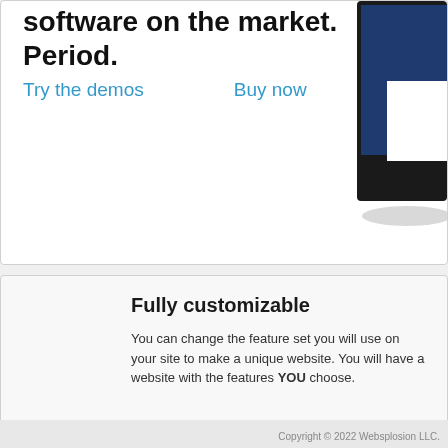software on the market. Period.
Try the demos   Buy now
[Figure (screenshot): Partial screenshot of a device (tablet or monitor) showing a dark blue interface with a white panel, cropped at the right edge of the page]
Fully customizable
You can change the feature set you will use on your site to make a unique website. You will have a website with the features YOU choose.
Copyright © 2022 Websplosion LLC.